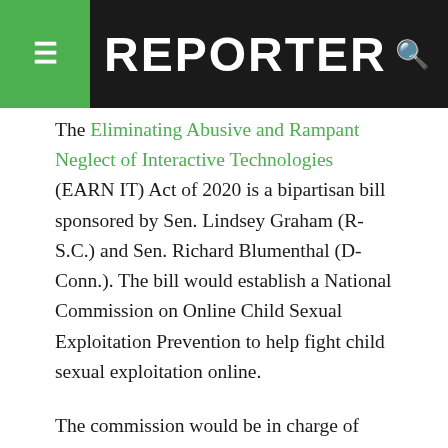REPORTER
The Eliminating Abusive and Rampant Neglect of Interactive Technologies (EARN IT) Act of 2020 is a bipartisan bill sponsored by Sen. Lindsey Graham (R-S.C.) and Sen. Richard Blumenthal (D-Conn.). The bill would establish a National Commission on Online Child Sexual Exploitation Prevention to help fight child sexual exploitation online.
The commission would be in charge of crafting a set of “best practices” for internet companies to follow and would aim to crack down on child sexual abuse material online. In its earliest iteration, the EARN IT Act planned to enforce these practices by revoking Section 230 protections for service providers who violated their rules.